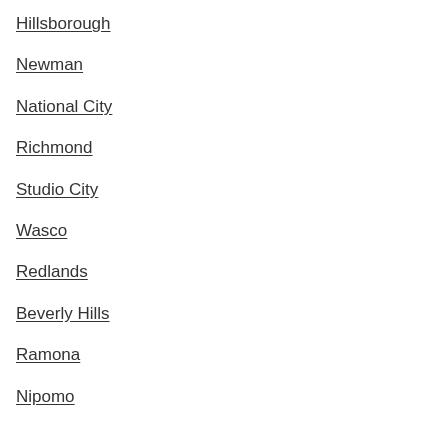Hillsborough
Newman
National City
Richmond
Studio City
Wasco
Redlands
Beverly Hills
Ramona
Nipomo